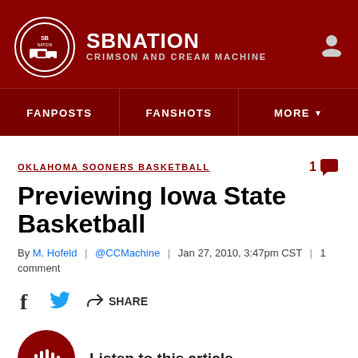SB NATION — CRIMSON AND CREAM MACHINE
FANPOSTS | FANSHOTS | MORE
OKLAHOMA SOONERS BASKETBALL
Previewing Iowa State Basketball
By M. Hofeld | @CCMachine | Jan 27, 2010, 3:47pm CST | 1 comment
SHARE
Listen to this article